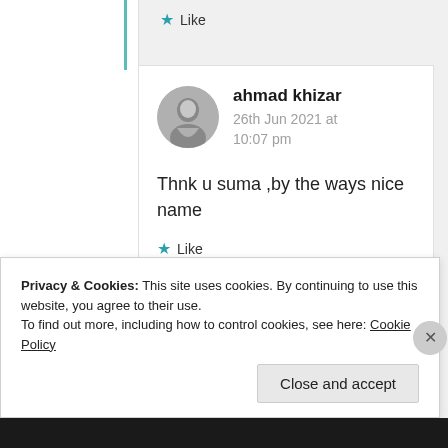★ Like
ahmad khizar
26th Jun 2021 at 10:07 pm

Thnk u suma ,by the ways nice name
★ Like
Privacy & Cookies: This site uses cookies. By continuing to use this website, you agree to their use.
To find out more, including how to control cookies, see here: Cookie Policy
Close and accept